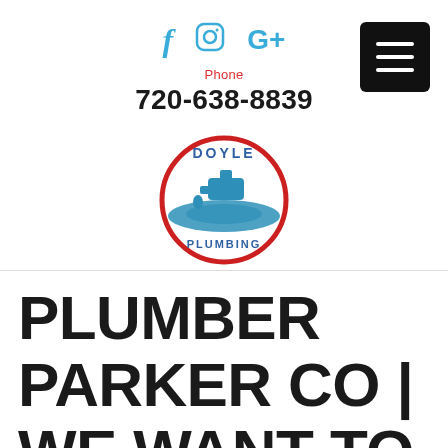[Figure (logo): Social media icons: Facebook (f), Instagram (camera icon), Google+ (G+) in blue]
Phone
720-638-8839
[Figure (logo): Doyle Plumbing logo: circular red and blue emblem with a faucet and hands, text DOYLE on top and PLUMBING on bottom]
[Figure (other): Black square hamburger menu button with three white horizontal lines]
PLUMBER PARKER CO | WE WANT TO